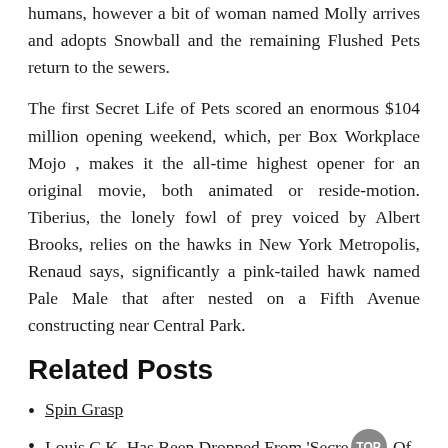humans, however a bit of woman named Molly arrives and adopts Snowball and the remaining Flushed Pets return to the sewers.
The first Secret Life of Pets scored an enormous $104 million opening weekend, which, per Box Workplace Mojo , makes it the all-time highest opener for an original movie, both animated or reside-motion. Tiberius, the lonely fowl of prey voiced by Albert Brooks, relies on the hawks in New York Metropolis, Renaud says, significantly a pink-tailed hawk named Pale Male that after nested on a Fifth Avenue constructing near Central Park.
Related Posts
Spin Grasp
Louis C.K. Has Been Dropped From 'Secret Life Of Pets 2'
On-line Food Purchasing